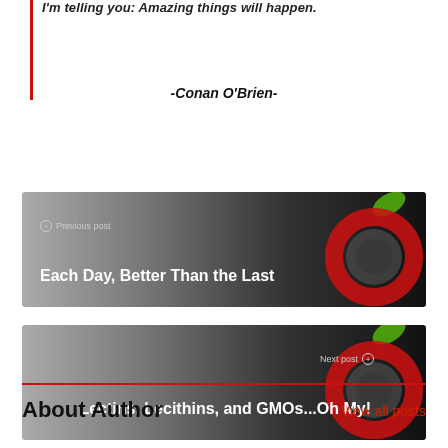I'm telling you: Amazing things will happen.
-Conan O'Brien-
[Figure (screenshot): Previous post navigation banner with apple logo: Each Day, Better Than the Last]
[Figure (screenshot): Next post navigation banner with apple logo: Lectins, Lecithins, and GMOs...Oh My!]
About Author
View all posts